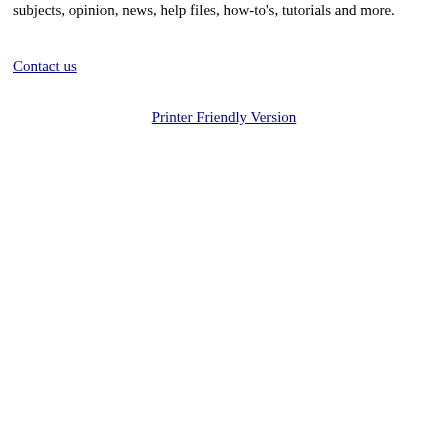subjects, opinion, news, help files, how-to's, tutorials and more.
Contact us
Printer Friendly Version